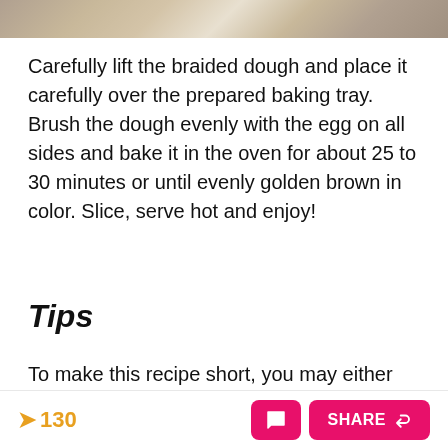[Figure (photo): Top strip showing a partial photo of braided dough on a baking tray with flour-dusted surface]
Carefully lift the braided dough and place it carefully over the prepared baking tray. Brush the dough evenly with the egg on all sides and bake it in the oven for about 25 to 30 minutes or until evenly golden brown in color. Slice, serve hot and enjoy!
Tips
To make this recipe short, you may either use
130  SHARE